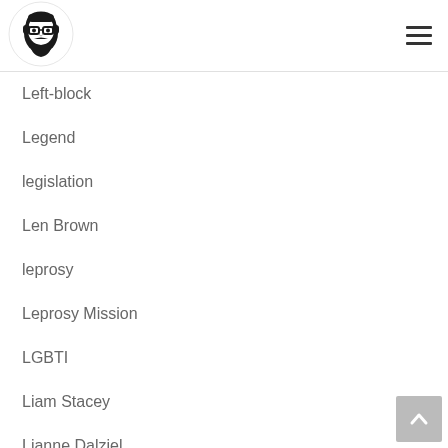[Figure (logo): Circular logo of a bearded man with glasses and headphones, black and white illustration]
[Figure (other): Hamburger menu icon with three horizontal lines]
Left-block
Legend
legislation
Len Brown
leprosy
Leprosy Mission
LGBTI
Liam Stacey
Lianne Dalziel
Lindsey Graham
Lisa Ling
[Figure (other): Back to top button with upward arrow icon, grey background]